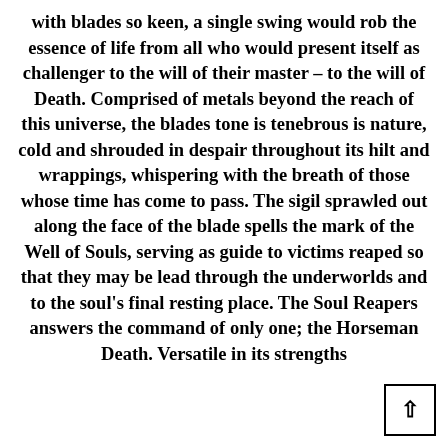with blades so keen, a single swing would rob the essence of life from all who would present itself as challenger to the will of their master – to the will of Death. Comprised of metals beyond the reach of this universe, the blades tone is tenebrous is nature, cold and shrouded in despair throughout its hilt and wrappings, whispering with the breath of those whose time has come to pass. The sigil sprawled out along the face of the blade spells the mark of the Well of Souls, serving as guide to victims reaped so that they may be lead through the underworlds and to the soul's final resting place. The Soul Reapers answers the command of only one; the Horseman Death. Versatile in its strengths